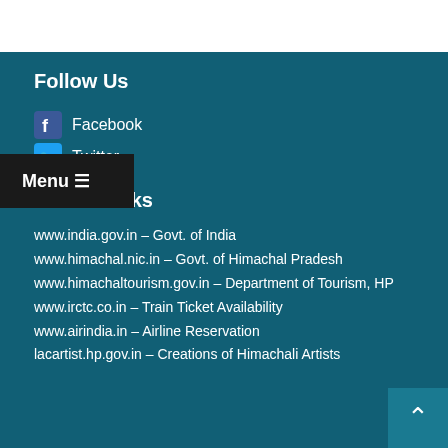Follow Us
Facebook
Twitter
Useful Links
www.india.gov.in – Govt. of India
www.himachal.nic.in – Govt. of Himachal Pradesh
www.himachaltourism.gov.in – Department of Tourism, HP
www.irctc.co.in – Train Ticket Availability
www.airindia.in – Airline Reservation
lacartist.hp.gov.in – Creations of Himachali Artists